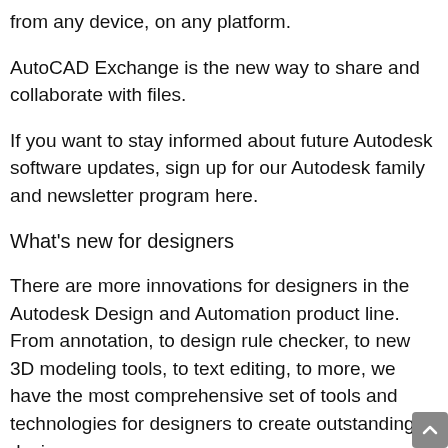from any device, on any platform.
AutoCAD Exchange is the new way to share and collaborate with files.
If you want to stay informed about future Autodesk software updates, sign up for our Autodesk family and newsletter program here.
What's new for designers
There are more innovations for designers in the Autodesk Design and Automation product line. From annotation, to design rule checker, to new 3D modeling tools, to text editing, to more, we have the most comprehensive set of tools and technologies for designers to create outstanding designs.